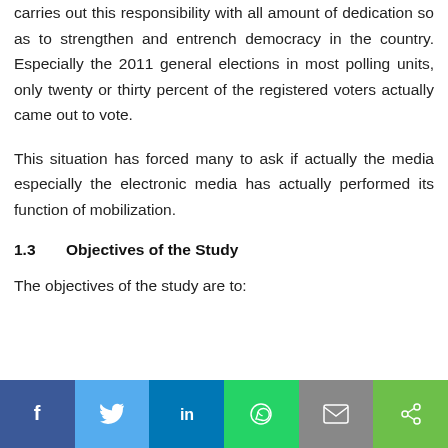carries out this responsibility with all amount of dedication so as to strengthen and entrench democracy in the country. Especially the 2011 general elections in most polling units, only twenty or thirty percent of the registered voters actually came out to vote.
This situation has forced many to ask if actually the media especially the electronic media has actually performed its function of mobilization.
1.3	Objectives of the Study
The objectives of the study are to:
[Figure (other): Social sharing bar with Facebook, Twitter, LinkedIn, WhatsApp, Email, and Share buttons]